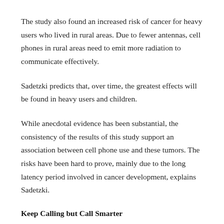The study also found an increased risk of cancer for heavy users who lived in rural areas. Due to fewer antennas, cell phones in rural areas need to emit more radiation to communicate effectively.
Sadetzki predicts that, over time, the greatest effects will be found in heavy users and children.
While anecdotal evidence has been substantial, the consistency of the results of this study support an association between cell phone use and these tumors. The risks have been hard to prove, mainly due to the long latency period involved in cancer development, explains Sadetzki.
Keep Calling but Call Smarter